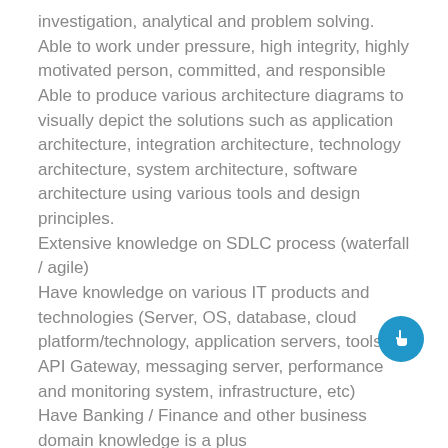investigation, analytical and problem solving.
Able to work under pressure, high integrity, highly motivated person, committed, and responsible
Able to produce various architecture diagrams to visually depict the solutions such as application architecture, integration architecture, technology architecture, system architecture, software architecture using various tools and design principles.
Extensive knowledge on SDLC process (waterfall / agile)
Have knowledge on various IT products and technologies (Server, OS, database, cloud platform/technology, application servers, tools, API Gateway, messaging server, performance and monitoring system, infrastructure, etc)
Have Banking / Finance and other business domain knowledge is a plus
Educational :
S1/S2 majoring in Computer Science / Telecommunication / Informatics or equivalent